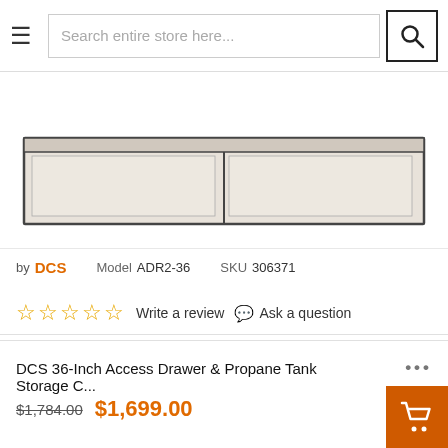Search entire store here...
[Figure (photo): Product image of DCS 36-Inch Access Drawer & Propane Tank Storage Cabinet, showing a metal stainless steel drawer/cabinet panel with two compartments, partially cropped at top]
by DCS   Model ADR2-36   SKU 306371
☆☆☆☆☆  Write a review  💬 Ask a question
DCS 36-Inch Access Drawer & Propane Tank Storage C...
$1,784.00  $1,699.00